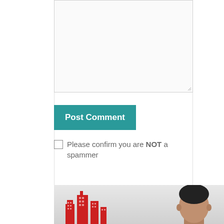[Figure (screenshot): Text area / comment input box with resize handle in bottom-right corner]
Post Comment
Please confirm you are NOT a spammer
[Figure (photo): Photo of a man with dark hair, partial face visible, with a red building/city logo in the lower left, on a grey gradient background]